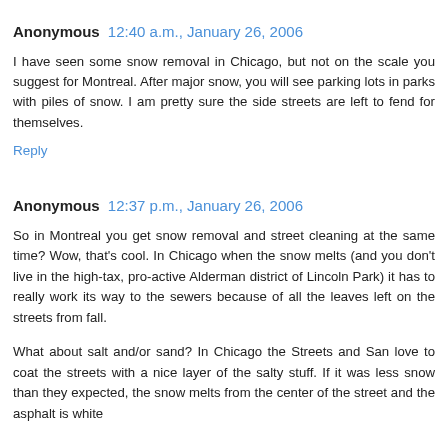Anonymous 12:40 a.m., January 26, 2006
I have seen some snow removal in Chicago, but not on the scale you suggest for Montreal. After major snow, you will see parking lots in parks with piles of snow. I am pretty sure the side streets are left to fend for themselves.
Reply
Anonymous 12:37 p.m., January 26, 2006
So in Montreal you get snow removal and street cleaning at the same time? Wow, that's cool. In Chicago when the snow melts (and you don't live in the high-tax, pro-active Alderman district of Lincoln Park) it has to really work its way to the sewers because of all the leaves left on the streets from fall.
What about salt and/or sand? In Chicago the Streets and San love to coat the streets with a nice layer of the salty stuff. If it was less snow than they expected, the snow melts from the center of the street and the asphalt is white